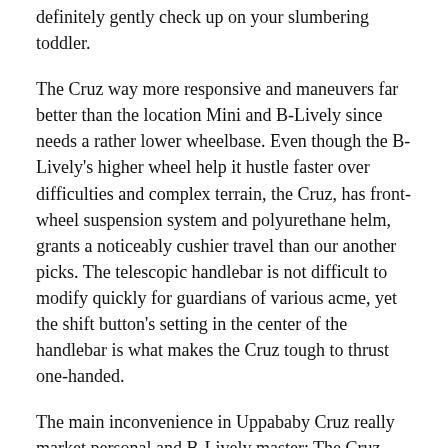definitely gently check up on your slumbering toddler.
The Cruz way more responsive and maneuvers far better than the location Mini and B-Lively since needs a rather lower wheelbase. Even though the B-Lively's higher wheel help it hustle faster over difficulties and complex terrain, the Cruz, has front-wheel suspension system and polyurethane helm, grants a noticeably cushier travel than our another picks. The telescopic handlebar is not difficult to modify quickly for guardians of various acme, yet the shift button's setting in the center of the handlebar is what makes the Cruz tough to thrust one-handed.
The main inconvenience in Uppababy Cruz really market personal and B-Lively master: The Cruz offers an uncomfortable two-handed folding that some mother and father some of us chatted to don't discover user-friendly. One mom lamented that she normally pinches him/her finger after flip this situation. (The City miniature and B-Lively tend to be nearly pinch-proof.) The center